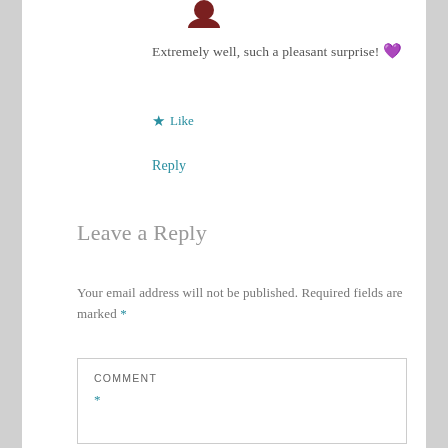[Figure (illustration): Small avatar/profile image icon at the top]
Extremely well, such a pleasant surprise! 💜
★ Like
Reply
Leave a Reply
Your email address will not be published. Required fields are marked *
COMMENT *